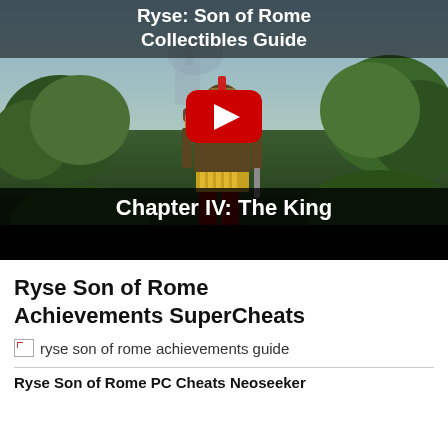[Figure (screenshot): YouTube video thumbnail for 'Ryse: Son of Rome Collectibles Guide - Chapter IV: The King'. Shows a Roman soldier from behind in a forest environment with a YouTube play button overlay. Top text reads 'Ryse: Son of Rome Collectibles Guide', bottom text reads 'Chapter IV: The King'.]
Ryse Son of Rome Achievements SuperCheats
[Figure (photo): Broken image placeholder labeled 'ryse son of rome achievements guide']
Ryse Son of Rome PC Cheats Neoseeker